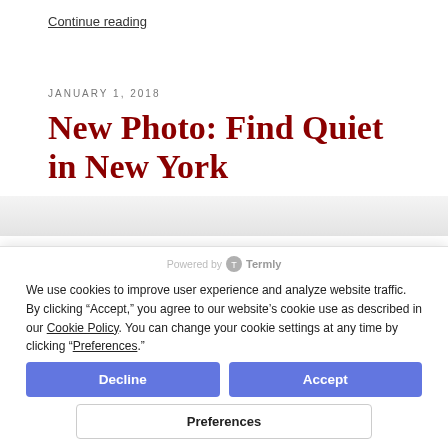Continue reading
JANUARY 1, 2018
New Photo: Find Quiet in New York
Powered by Termly
We use cookies to improve user experience and analyze website traffic. By clicking “Accept,” you agree to our website’s cookie use as described in our Cookie Policy. You can change your cookie settings at any time by clicking “Preferences.”
Decline
Accept
Preferences